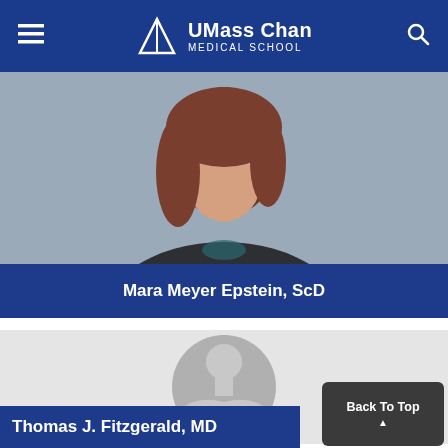UMass Chan Medical School
[Figure (photo): Photo of Mara Meyer Epstein - woman with curly brown hair wearing black jacket]
Mara Meyer Epstein, ScD
[Figure (photo): Placeholder silhouette profile image for Thomas J. Fitzgerald]
Thomas J. Fitzgerald, MD
Back To Top